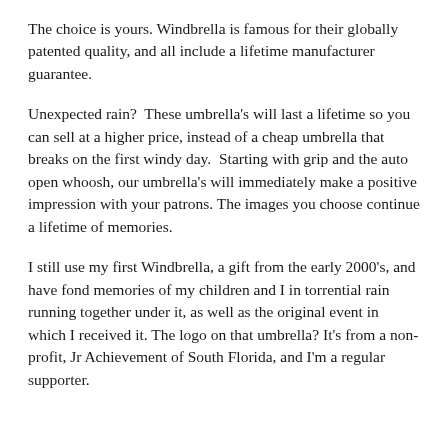The choice is yours. Windbrella is famous for their globally patented quality, and all include a lifetime manufacturer guarantee.
Unexpected rain?  These umbrella's will last a lifetime so you can sell at a higher price, instead of a cheap umbrella that breaks on the first windy day.  Starting with grip and the auto open whoosh, our umbrella's will immediately make a positive impression with your patrons. The images you choose continue a lifetime of memories.
I still use my first Windbrella, a gift from the early 2000's, and have fond memories of my children and I in torrential rain running together under it, as well as the original event in which I received it. The logo on that umbrella? It's from a non-profit, Jr Achievement of South Florida, and I'm a regular supporter.